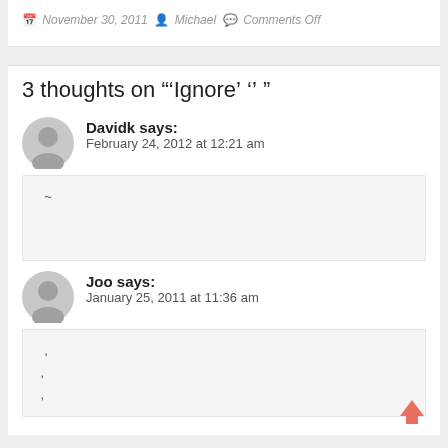November 30, 2011 Michael Comments Off
3 thoughts on "‘Ignore’� ‘����’� ���"
Davidk says: February 24, 2012 at 12:21 am
��� �� ������~
Joo says: January 25, 2011 at 11:36 am
��� ��� �����,���
�� ����,
��� ������,